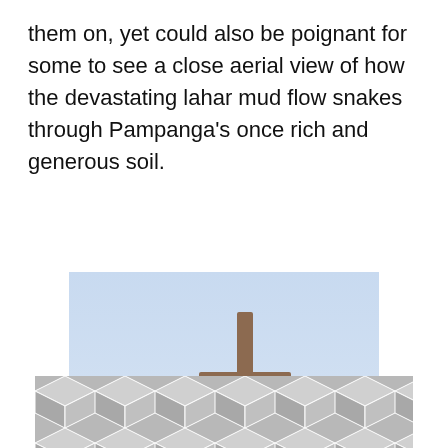them on, yet could also be poignant for some to see a close aerial view of how the devastating lahar mud flow snakes through Pampanga's once rich and generous soil.
[Figure (photo): Religious statue of a woman (likely Virgin Mary) wearing a crown and red mantle, holding a large wooden cross, set against a light blue sky with architectural elements in the background.]
[Figure (illustration): Decorative geometric hexagon/cube pattern in shades of grey and white.]